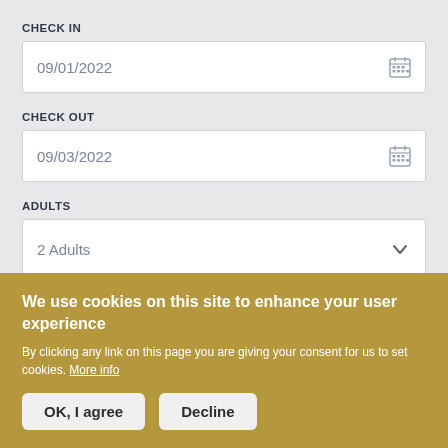CHECK IN
09/01/2022
CHECK OUT
09/03/2022
ADULTS
2 Adults
We use cookies on this site to enhance your user experience
By clicking any link on this page you are giving your consent for us to set cookies. More info
OK, I agree
Decline